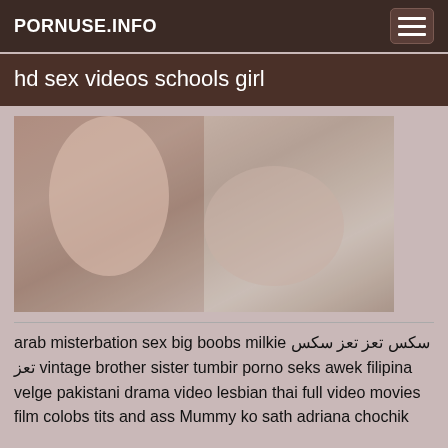PORNUSE.INFO
hd sex videos schools girl
[Figure (photo): Thumbnail image of explicit adult content]
arab misterbation sex big boobs milkie سکس تعز تعز سکس تعز vintage brother sister tumbir porno seks awek filipina velge pakistani drama video lesbian thai full video movies film colobs tits and ass Mummy ko sath adriana chochik